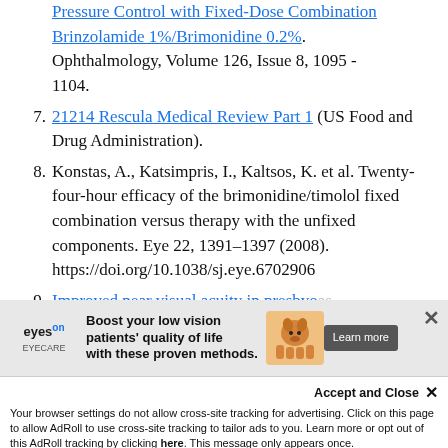(continuation of item 6) Brinzolamide 1%/Brimonidine 0.2%. Ophthalmology, Volume 126, Issue 8, 1095 - 1104.
7. 21214 Rescula Medical Review Part 1 (US Food and Drug Administration).
8. Konstas, A., Katsimpris, I., Kaltsos, K. et al. Twenty-four-hour efficacy of the brimonidine/timolol fixed combination versus therapy with the unfixed components. Eye 22, 1391–1397 (2008). https://doi.org/10.1038/sj.eye.6702906
9. Improved near visual acuity in presbyopes...
[Figure (infographic): Advertisement overlay: Eyes On eyecare brand ad with dog graphic, 'Boost your low vision patients quality of life with these proven methods.' and Learn more button. Close X button visible.]
Accept and Close ✕ Your browser settings do not allow cross-site tracking for advertising. Click on this page to allow AdRoll to use cross-site tracking to tailor ads to you. Learn more or opt out of this AdRoll tracking by clicking here. This message only appears once.